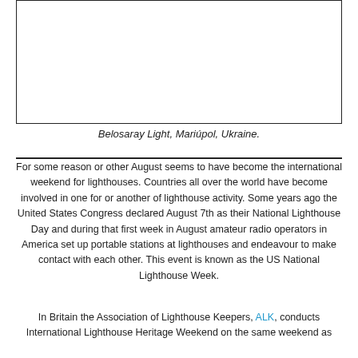[Figure (photo): Empty white rectangle with border representing an image of Belosaray Light, Mariúpol, Ukraine.]
Belosaray Light, Mariúpol, Ukraine.
For some reason or other August seems to have become the international weekend for lighthouses. Countries all over the world have become involved in one for or another of lighthouse activity. Some years ago the United States Congress declared August 7th as their National Lighthouse Day and during that first week in August amateur radio operators in America set up portable stations at lighthouses and endeavour to make contact with each other. This event is known as the US National Lighthouse Week.
In Britain the Association of Lighthouse Keepers, ALK, conducts International Lighthouse Heritage Weekend on the same weekend as